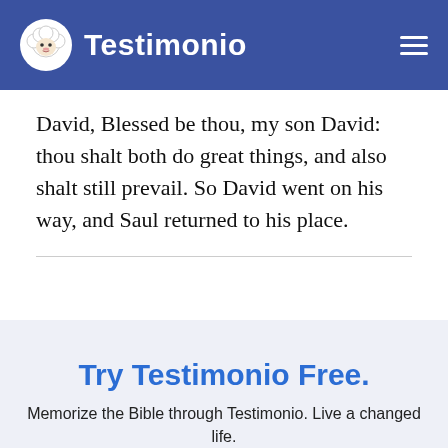Testimonio
David, Blessed be thou, my son David: thou shalt both do great things, and also shalt still prevail. So David went on his way, and Saul returned to his place.
Try Testimonio Free.
Memorize the Bible through Testimonio. Live a changed life.